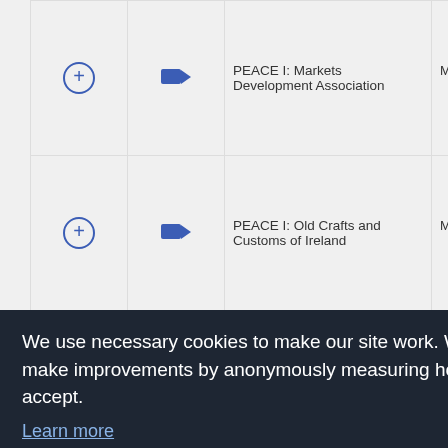|  |  | Name | Type |
| --- | --- | --- | --- |
| + | video | PEACE I: Markets Development Association | Media/Promotional Material |
| + | video | PEACE I: Old Crafts and Customs of Ireland | Media/Promotional Material |
| + | video | PEACE I: [partial] | [partial]nal |
| + | video |  | [partial]nal |
| + | video |  | [partial]nal |
| + | video |  | [partial]nal |
| + | video | PEACE I: |  |
We use necessary cookies to make our site work. We'd also like to set analytics cookies that help us make improvements by anonymously measuring how you use the site. These will be set only if you accept.
Learn more
Decline   Allow cookies